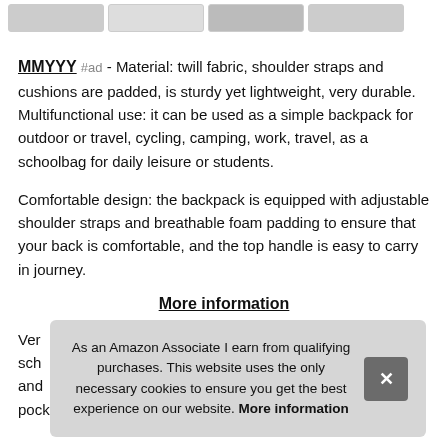[Figure (photo): Four product thumbnail images in a horizontal strip at the top of the page]
MMYYY #ad - Material: twill fabric, shoulder straps and cushions are padded, is sturdy yet lightweight, very durable. Multifunctional use: it can be used as a simple backpack for outdoor or travel, cycling, camping, work, travel, as a schoolbag for daily leisure or students.
Comfortable design: the backpack is equipped with adjustable shoulder straps and breathable foam padding to ensure that your back is comfortable, and the top handle is easy to carry in journey.
More information
Very ... sch... and ... pockets. Backpack dimension: 11.5x8x16 inches, suitable for
As an Amazon Associate I earn from qualifying purchases. This website uses the only necessary cookies to ensure you get the best experience on our website. More information